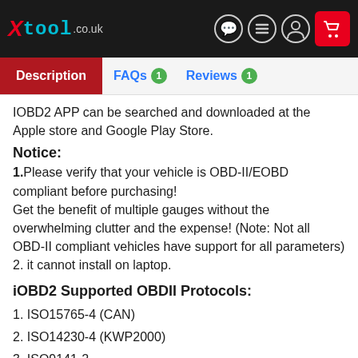XTOOL.co.uk — Description | FAQs 1 | Reviews 1
IOBD2 APP can be searched and downloaded at the Apple store and Google Play Store.
Notice:
1.Please verify that your vehicle is OBD-II/EOBD compliant before purchasing!
Get the benefit of multiple gauges without the overwhelming clutter and the expense! (Note: Not all OBD-II compliant vehicles have support for all parameters)
2. it cannot install on laptop.
iOBD2 Supported OBDII Protocols:
1. ISO15765-4 (CAN)
2. ISO14230-4 (KWP2000)
3. ISO9141-2